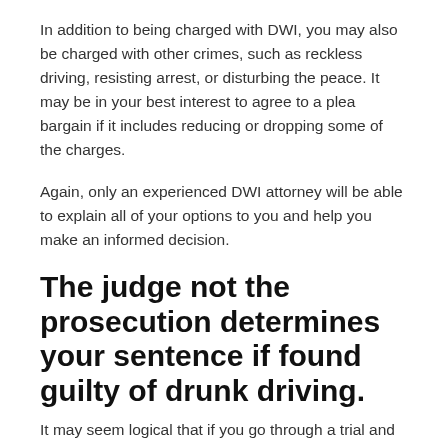In addition to being charged with DWI, you may also be charged with other crimes, such as reckless driving, resisting arrest, or disturbing the peace. It may be in your best interest to agree to a plea bargain if it includes reducing or dropping some of the charges.
Again, only an experienced DWI attorney will be able to explain all of your options to you and help you make an informed decision.
The judge not the prosecution determines your sentence if found guilty of drunk driving.
It may seem logical that if you go through a trial and are found guilty, that you will receive a harsher sentence or that the prosecuting attorney will recommend a stronger sentence. The fact is, there are prosecutors out there who believe that you should not waste the court's time exercising your right to a trial if you are or know you are guilty.